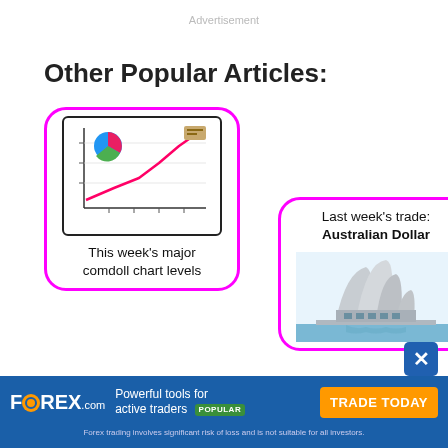Advertisement
Other Popular Articles:
[Figure (illustration): Article card with pink/magenta border, rounded corners. Contains a line chart icon with upward trending pink arrow and a small pie chart icon in top-left corner. Text below reads 'This week's major comdoll chart levels']
[Figure (illustration): Article card with pink/magenta border, rounded corners. Text at top reads 'Last week's trade: Australian Dollar'. Below is an illustration of the Sydney Opera House.]
FOREX.com Powerful tools for active traders POPULAR TRADE TODAY Forex trading involves significant risk of loss and is not suitable for all investors.